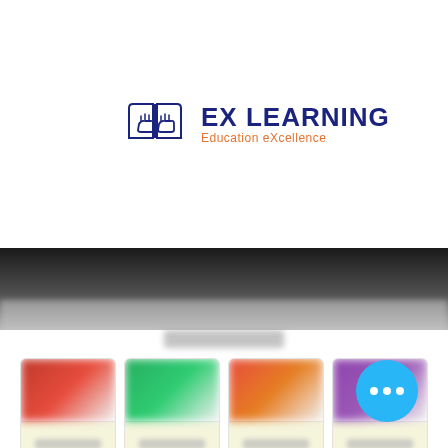[Figure (logo): EX LEARNING logo with hands holding books icon, dark navy text 'EX LEARNING' and orange subtitle 'Education eXcellence', hamburger menu icon on the right]
[Figure (photo): Blurred banner image below the navigation bar, showing a dark background with some content]
[Figure (photo): Four blurred course/product cards in a row, each with colorful top images (red, green, red-orange, purple) and beige/yellow card bodies]